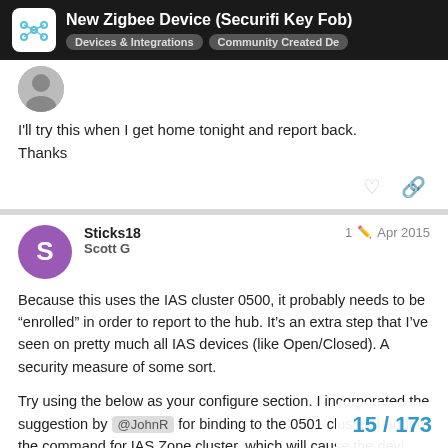New Zigbee Device (Securifi Key Fob) — Devices & Integrations | Community Created De
I'll try this when I get home tonight and report back. Thanks
Sticks18 — Scott G — 1 edit — Apr 2015
Because this uses the IAS cluster 0500, it probably needs to be "enrolled" in order to report to the hub. It's an extra step that I've seen on pretty much all IAS devices (like Open/Closed). A security measure of some sort.
Try using the below as your configure section. I incorporated the suggestion by @JohnR for binding to the 0501 cluster. I added the command for IAS Zone cluster, which will cause the devi
15 / 173